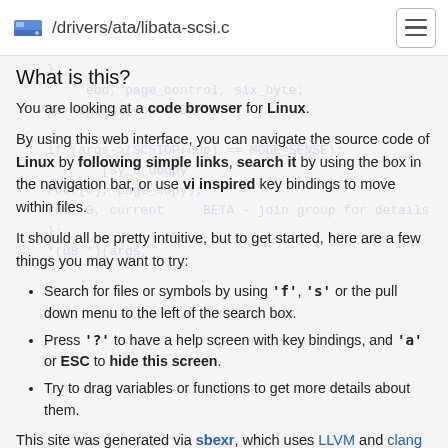/drivers/ata/libata-scsi.c
What is this?
You are looking at a code browser for Linux.
By using this web interface, you can navigate the source code of Linux by following simple links, search it by using the box in the navigation bar, or use vi inspired key bindings to move within files.
It should all be pretty intuitive, but to get started, here are a few things you may want to try:
Search for files or symbols by using 'f', 's' or the pull down menu to the left of the search box.
Press '?' to have a help screen with key bindings, and 'a' or ESC to hide this screen.
Try to drag variables or functions to get more details about them.
This site was generated via sbexr, which uses LLVM and clang to parse and index the code.
sbexr is free software (as in "free speech"), under heavy development, share.sbexr.org and the Linux kernel source code